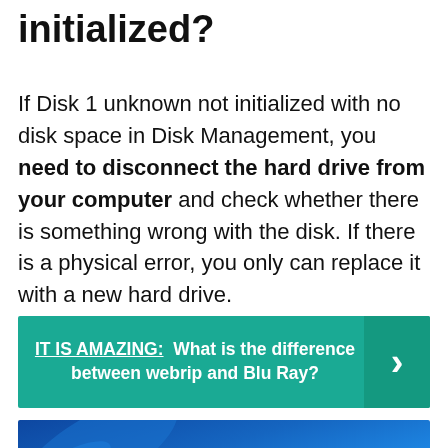initialized?
If Disk 1 unknown not initialized with no disk space in Disk Management, you need to disconnect the hard drive from your computer and check whether there is something wrong with the disk. If there is a physical error, you only can replace it with a new hard drive.
IT IS AMAZING:  What is the difference between webrip and Blu Ray?
[Figure (screenshot): Blue gradient banner with white bold text reading 'Not Initialized' and 'How to Fix' with a wrench emoji and red question mark decoration]